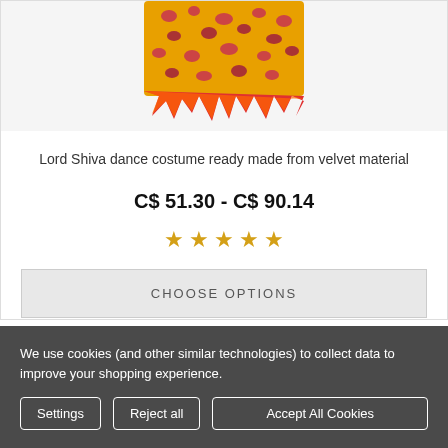[Figure (photo): Partial view of a Lord Shiva dance costume made from leopard-print velvet fabric with flame-like fringe hem in red and orange colors]
Lord Shiva dance costume ready made from velvet material
C$ 51.30 - C$ 90.14
[Figure (other): Five gold/orange star rating icons]
CHOOSE OPTIONS
We use cookies (and other similar technologies) to collect data to improve your shopping experience.
Settings
Reject all
Accept All Cookies